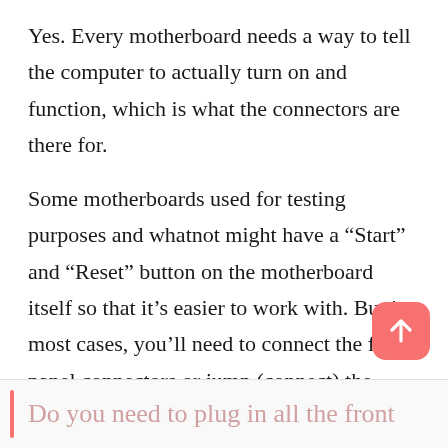Yes. Every motherboard needs a way to tell the computer to actually turn on and function, which is what the connectors are there for.
Some motherboards used for testing purposes and whatnot might have a “Start” and “Reset” button on the motherboard itself so that it’s easier to work with. But in most cases, you’ll need to connect the front panel connectors or jump (connect) the prongs to get your computer to turn on.
Do you need to plug in all the front